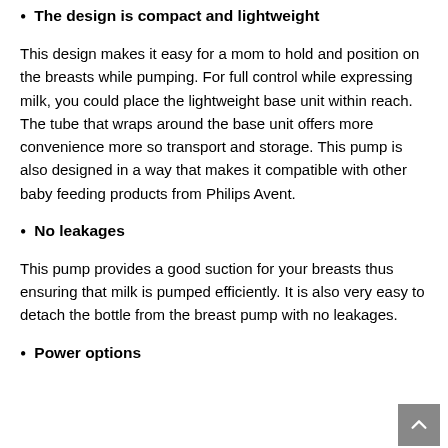The design is compact and lightweight
This design makes it easy for a mom to hold and position on the breasts while pumping. For full control while expressing milk, you could place the lightweight base unit within reach. The tube that wraps around the base unit offers more convenience more so transport and storage. This pump is also designed in a way that makes it compatible with other baby feeding products from Philips Avent.
No leakages
This pump provides a good suction for your breasts thus ensuring that milk is pumped efficiently. It is also very easy to detach the bottle from the breast pump with no leakages.
Power options